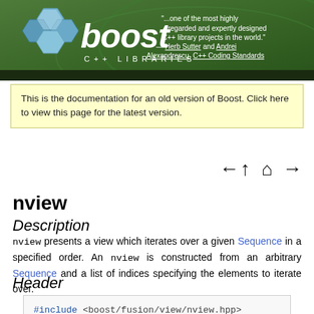Boost C++ Libraries header banner with logo and quote: "...one of the most highly regarded and expertly designed C++ library projects in the world." — Herb Sutter and Andrei Alexandrescu, C++ Coding Standards
This is the documentation for an old version of Boost. Click here to view this page for the latest version.
[Figure (other): Navigation arrows: left, up, home, right]
nview
Description
nview presents a view which iterates over a given Sequence in a specified order. An nview is constructed from an arbitrary Sequence and a list of indices specifying the elements to iterate over.
Header
#include <boost/fusion/view/nview.hpp>
#include <boost/fusion/include/nview.hpp>